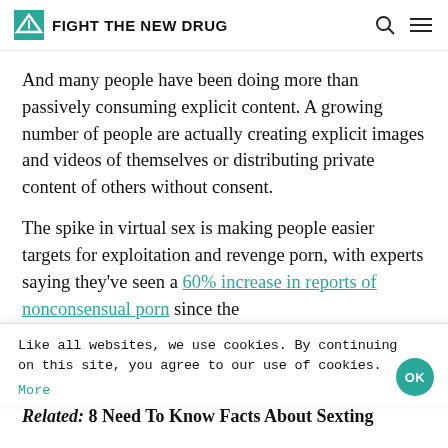FIGHT THE NEW DRUG
And many people have been doing more than passively consuming explicit content. A growing number of people are actually creating explicit images and videos of themselves or distributing private content of others without consent.
The spike in virtual sex is making people easier targets for exploitation and revenge porn, with experts saying they've seen a 60% increase in reports of nonconsensual porn since the
Like all websites, we use cookies. By continuing on this site, you agree to our use of cookies.
More
Related: 8 Need To Know Facts About Sexting